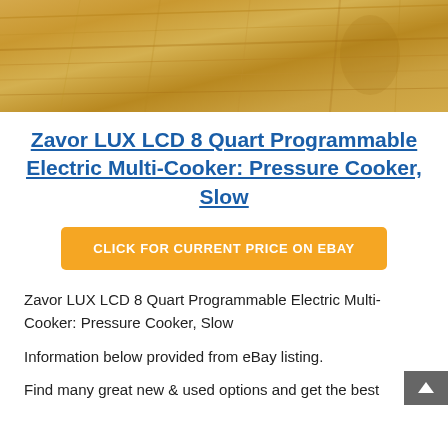[Figure (photo): Close-up photo of a wooden surface with natural grain texture in warm golden-brown tones, cropped at top of page.]
Zavor LUX LCD 8 Quart Programmable Electric Multi-Cooker: Pressure Cooker, Slow
[Figure (other): Orange button with white bold uppercase text: CLICK FOR CURRENT PRICE ON EBAY]
Zavor LUX LCD 8 Quart Programmable Electric Multi-Cooker: Pressure Cooker, Slow
Information below provided from eBay listing.
Find many great new & used options and get the best